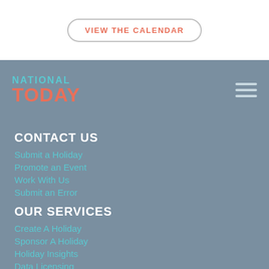VIEW THE CALENDAR
NATIONAL TODAY
CONTACT US
Submit a Holiday
Promote an Event
Work With Us
Submit an Error
OUR SERVICES
Create A Holiday
Sponsor A Holiday
Holiday Insights
Data Licensing